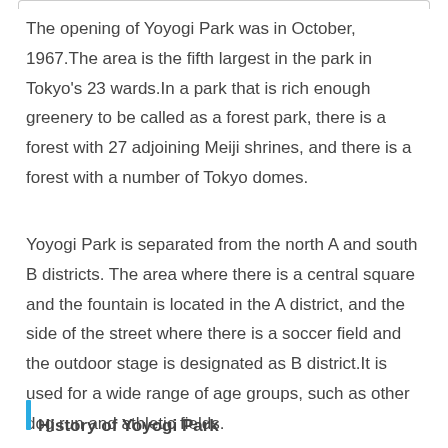The opening of Yoyogi Park was in October, 1967.The area is the fifth largest in the park in Tokyo's 23 wards.In a park that is rich enough greenery to be called as a forest park, there is a forest with 27 adjoining Meiji shrines, and there is a forest with a number of Tokyo domes.
Yoyogi Park is separated from the north A and south B districts. The area where there is a central square and the fountain is located in the A district, and the side of the street where there is a soccer field and the outdoor stage is designated as B district.It is used for a wide range of age groups, such as other dog run and athletic fields.
History of Yoyogi Park